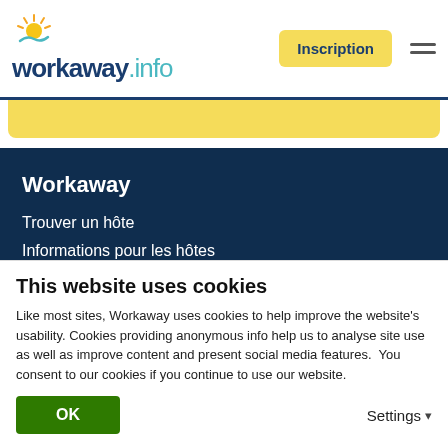[Figure (logo): Workaway.info logo with sun icon]
Inscription
Workaway
Trouver un hôte
Informations pour les hôtes
Informations pour les workawayers
S'inscrire comme workawayer
S'inscrire comme hôte
Offrir une expérience Workaway
This website uses cookies
Like most sites, Workaway uses cookies to help improve the website's usability. Cookies providing anonymous info help us to analyse site use as well as improve content and present social media features.  You consent to our cookies if you continue to use our website.
OK
Settings